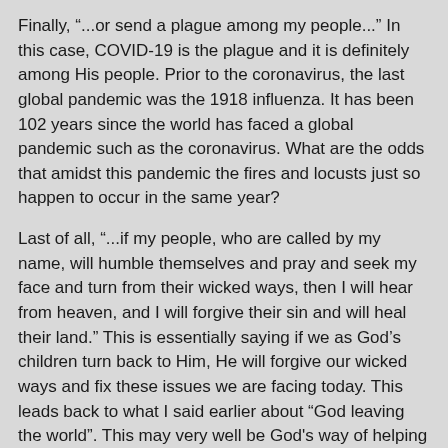Finally, “...or send a plague among my people...” In this case, COVID-19 is the plague and it is definitely among His people. Prior to the coronavirus, the last global pandemic was the 1918 influenza. It has been 102 years since the world has faced a global pandemic such as the coronavirus. What are the odds that amidst this pandemic the fires and locusts just so happen to occur in the same year?
Last of all, “...if my people, who are called by my name, will humble themselves and pray and seek my face and turn from their wicked ways, then I will hear from heaven, and I will forgive their sin and will heal their land.” This is essentially saying if we as God’s children turn back to Him, He will forgive our wicked ways and fix these issues we are facing today. This leads back to what I said earlier about “God leaving the world”. This may very well be God's way of helping people find their way back to Him.
Earlier I talked about how I hear people being angry at God and doubting those who do follow Him closely. However, I also have noticed an increase of people talking about God in a positive light. People who would normally never pray, are